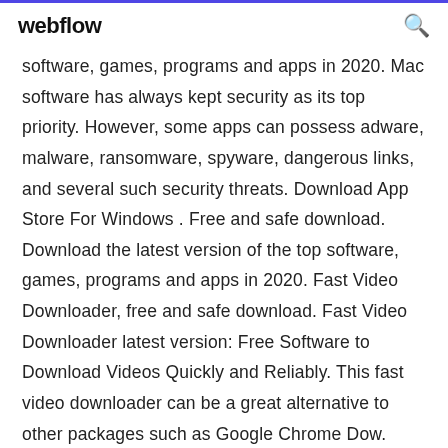webflow
software, games, programs and apps in 2020. Mac software has always kept security as its top priority. However, some apps can possess adware, malware, ransomware, spyware, dangerous links, and several such security threats. Download App Store For Windows . Free and safe download. Download the latest version of the top software, games, programs and apps in 2020. Fast Video Downloader, free and safe download. Fast Video Downloader latest version: Free Software to Download Videos Quickly and Reliably. This fast video downloader can be a great alternative to other packages such as Google Chrome Dow.